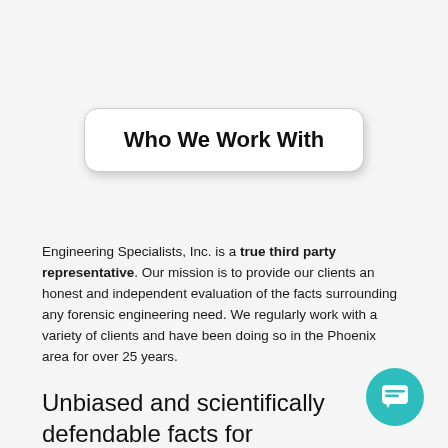Who We Work With
Engineering Specialists, Inc. is a true third party representative. Our mission is to provide our clients an honest and independent evaluation of the facts surrounding any forensic engineering need. We regularly work with a variety of clients and have been doing so in the Phoenix area for over 25 years.
Unbiased and scientifically defendable facts for Phoenix:
[Figure (illustration): Teal circular chat/message button icon in the bottom right corner]